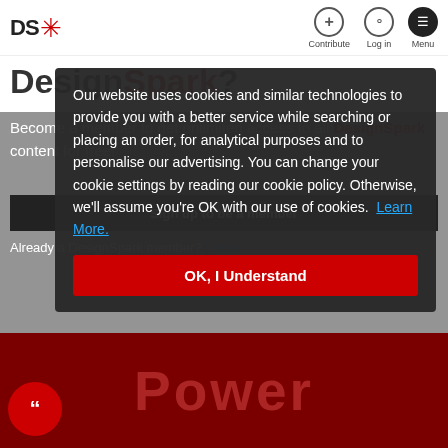DS* | Contribute | Log in | Menu
DesignSpark?
Become a member to get unlimited access to all DesignSpark content for free!
Sign up to be a member
Already a DesignSpark member? Login
[Figure (screenshot): Red banner with large 'Power' text and a red quote-mark circle]
Our website uses cookies and similar technologies to provide you with a better service while searching or placing an order, for analytical purposes and to personalise our advertising. You can change your cookie settings by reading our cookie policy. Otherwise, we'll assume you're OK with our use of cookies.  Learn More.
OK, I Understand